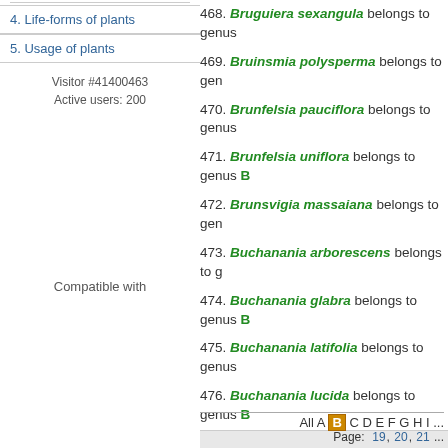4. Life-forms of plants
5. Usage of plants
Visitor #41400463
Active users: 200
Compatible with
468. Bruguiera sexangula belongs to genus
469. Bruinsmia polysperma belongs to gen
470. Brunfelsia pauciflora belongs to genus
471. Brunfelsia uniflora belongs to genus B
472. Brunsvigia massaiana belongs to gen
473. Buchanania arborescens belongs to g
474. Buchanania glabra belongs to genus B
475. Buchanania latifolia belongs to genus
476. Buchanania lucida belongs to genus B
477. Buchanania reticulata belongs to gen
478. Buchanania siamensis belongs to gen
479. Buchnera cruciata belongs to genus Bu
480. Buddleja asiatica belongs to genus Bu
All A B C D E F G H I ... Page: 19, 20, 21 ...